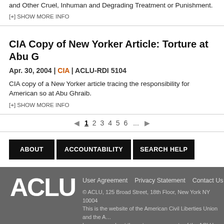and Other Cruel, Inhuman and Degrading Treatment or Punishment.
[+] SHOW MORE INFO
CIA Copy of New Yorker Article: Torture at Abu G
Apr. 30, 2004 | CIA | ACLU-RDI 5104
CIA copy of a New Yorker article tracing the responsibility for American so at Abu Ghraib.
[+] SHOW MORE INFO
1 2 3 4 5 6 ...
ABOUT   ACCOUNTABILITY   SEARCH HELP
ACLU
User Agreement   Privacy Statement   Contact Us
© ACLU, 125 Broad Street, 18th Floor, New York NY 10004
This is the website of the American Civil Liberties Union and the A…
Learn more about these two components of the ACLU.